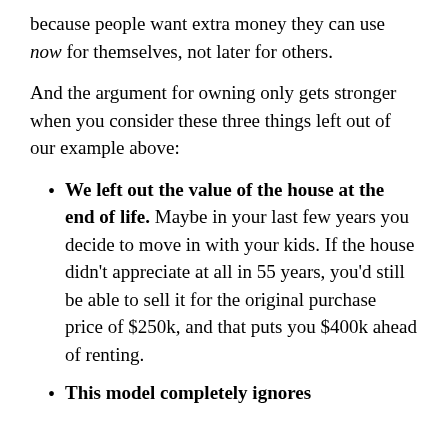because people want extra money they can use now for themselves, not later for others.
And the argument for owning only gets stronger when you consider these three things left out of our example above:
We left out the value of the house at the end of life. Maybe in your last few years you decide to move in with your kids. If the house didn't appreciate at all in 55 years, you'd still be able to sell it for the original purchase price of $250k, and that puts you $400k ahead of renting.
This model completely ignores